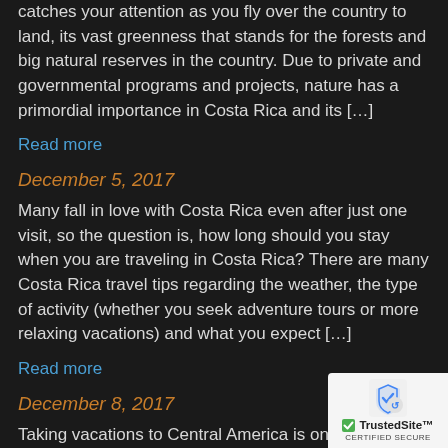catches your attention as you fly over the country to land, its vast greenness that stands for the forests and big natural reserves in the country. Due to private and governmental programs and projects, nature has a primordial importance in Costa Rica and its […]
Read more
December 5, 2017
Many fall in love with Costa Rica even after just one visit, so the question is, how long should you stay when you are traveling in Costa Rica? There are many Costa Rica travel tips regarding the weather, the type of activity (whether you seek adventure tours or more relaxing vacations) and what you expect […]
Read more
December 8, 2017
Taking vacations to Central America is one of the options you can take, and Arenal Volcano Rainfo…
[Figure (logo): TrustedSite certified secure badge with reCAPTCHA-style icon]